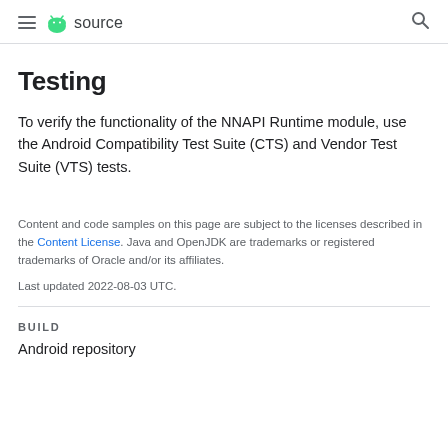source
Testing
To verify the functionality of the NNAPI Runtime module, use the Android Compatibility Test Suite (CTS) and Vendor Test Suite (VTS) tests.
Content and code samples on this page are subject to the licenses described in the Content License. Java and OpenJDK are trademarks or registered trademarks of Oracle and/or its affiliates.
Last updated 2022-08-03 UTC.
BUILD
Android repository